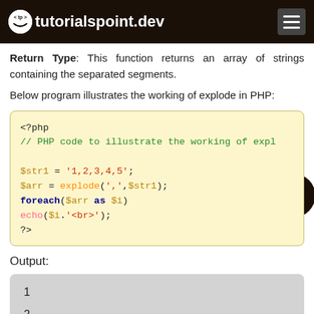tutorialspoint.dev
Return Type: This function returns an array of strings containing the separated segments.
Below program illustrates the working of explode in PHP:
[Figure (screenshot): PHP code block showing explode() function usage: <?php // PHP code to illustrate the working of explode $str1 = '1,2,3,4,5'; $arr = explode(',',$str1); foreach($arr as $i) echo($i.'<br>'); ?>]
Output:
[Figure (screenshot): Output box showing: 1, 2, 3 (each on a new line)]